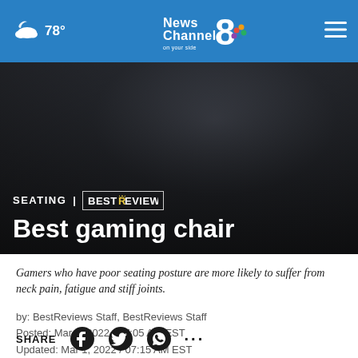78° | News Channel 8 on your side
[Figure (screenshot): Dark background hero image showing a gaming chair area with text overlay: SEATING | BESTREVIEWS and 'Best gaming chair']
Gamers who have poor seating posture are more likely to suffer from neck pain, fatigue and stiff joints.
by: BestReviews Staff, BestReviews Staff
Posted: Mar 1, 2022 / 07:05 AM EST
Updated: Mar 1, 2022 / 07:15 AM EST